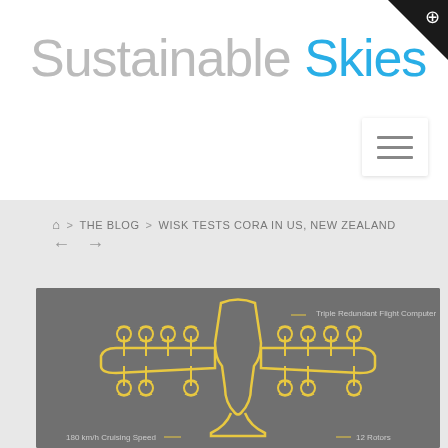Sustainable Skies
⌂ > THE BLOG > WISK TESTS CORA IN US, NEW ZEALAND ← →
[Figure (infographic): Top-down diagram of the Cora aircraft (eVTOL) with yellow line art showing the fuselage, wings, and 12 rotors on pylons, on a dark gray background. Label at bottom-left: '180 km/h Cruising Speed'. Label at bottom-right: '12 Rotors'. Label at top-right: 'Triple Redundant Flight Computer'.]